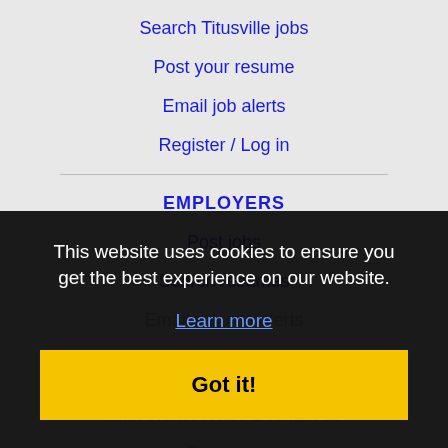Search Titusville jobs
Post your resume
Email job alerts
Register / Log in
EMPLOYERS
Post jobs
Search resumes
Email resume alerts
IMMIGRATION SPECIALISTS
Find jobs
Find businesses
Learn more
This website uses cookies to ensure you get the best experience on our website.
Learn more
Got it!